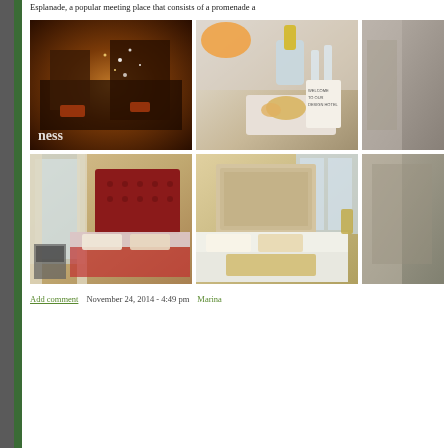Esplanade, a popular meeting place that consists of a promenade a
[Figure (photo): Hotel bar/lounge interior with warm lighting, christmas tree with lights, dark wood decor]
[Figure (photo): Hotel room welcome tray with champagne bottle in ice bucket, glasses, pastries, and welcome card]
[Figure (photo): Partial view of hotel room, cropped right side]
[Figure (photo): Hotel room with red tufted headboard, maroon bedding, window with curtains]
[Figure (photo): Hotel room with beige/gold headboard and bedding, warm lighting]
[Figure (photo): Partial view of hotel room, cropped right side]
Add comment    November 24, 2014 - 4:49 pm    Marina